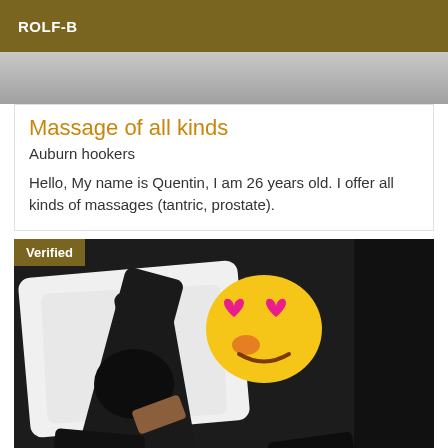ROLF-B
[Figure (photo): Partial photo of a person on a bed, top portion cropped showing gray tones]
Massage of all kinds
Auburn hookers
Hello, My name is Quentin, I am 26 years old. I offer all kinds of massages (tantric, prostate).
[Figure (photo): Photo of a person lying on a bed in dark clothing with an emoji sticker covering their face. A 'Verified' badge appears in the top left corner.]